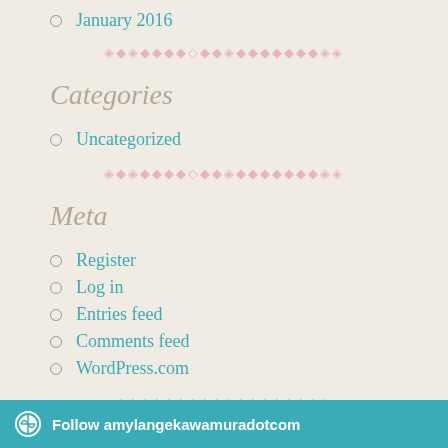January 2016
[Figure (other): Decorative diamond divider pattern in pink]
Categories
Uncategorized
[Figure (other): Decorative diamond divider pattern in pink]
Meta
Register
Log in
Entries feed
Comments feed
WordPress.com
[Figure (other): Decorative diamond divider pattern in pink]
Follow amylangekawamuradotcom